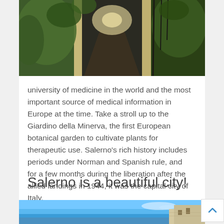[Figure (photo): A shaded pathway or garden alley with stone pillars, trees and iron gate, viewed from end of path looking into sunlight.]
university of medicine in the world and the most important source of medical information in Europe at the time. Take a stroll up to the Giardino della Minerva, the first European botanical garden to cultivate plants for therapeutic use. Salerno's rich history includes periods under Norman and Spanish rule, and for a few months during the liberation after the allied landings in 1944, it was the capital city of Italy.
Salerno is a beautiful city!
[Figure (photo): Partial view of a coastal or hillside scene in Salerno with bright blue sky and historic architecture.]